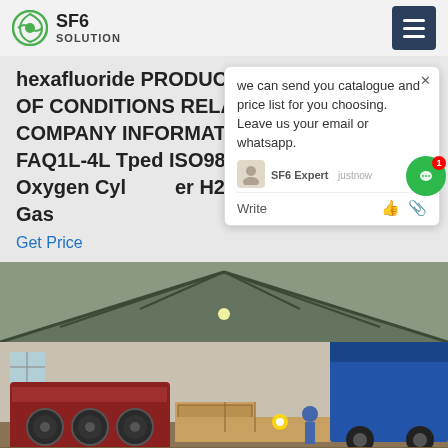SF6 SOLUTION
hexafluoride PRODUCT DETAILS THE USE OF CONDITIONS RELATED PRODUCTS COMPANY INFORMATION Contact Us FAQ1L-4L Tped ISO9809-3 Std Medical Oxygen Cylinder H2 Gas Cylinder Argon Gas
Get Price
[Figure (photo): Industrial warehouse interior with machinery, wooden crates, and a blue truck. Workers visible in background. Red compressor machine in foreground.]